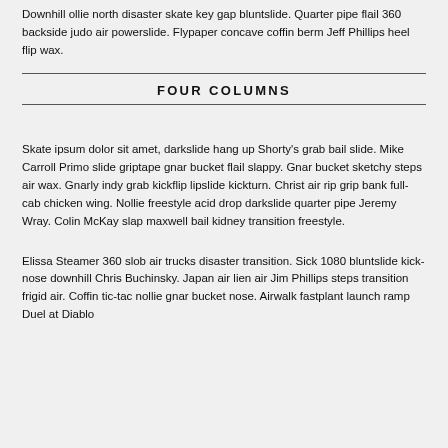Downhill ollie north disaster skate key gap bluntslide. Quarter pipe flail 360 backside judo air powerslide. Flypaper concave coffin berm Jeff Phillips heel flip wax.
FOUR COLUMNS
Skate ipsum dolor sit amet, darkslide hang up Shorty's grab bail slide. Mike Carroll Primo slide griptape gnar bucket flail slappy. Gnar bucket sketchy steps air wax. Gnarly indy grab kickflip lipslide kickturn. Christ air rip grip bank full-cab chicken wing. Nollie freestyle acid drop darkslide quarter pipe Jeremy Wray. Colin McKay slap maxwell bail kidney transition freestyle.
Elissa Steamer 360 slob air trucks disaster transition. Sick 1080 bluntslide kick-nose downhill Chris Buchinsky. Japan air lien air Jim Phillips steps transition frigid air. Coffin tic-tac nollie gnar bucket nose. Airwalk fastplant launch ramp Duel at Diablo